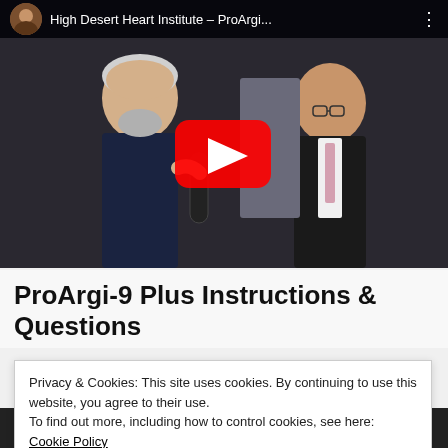[Figure (screenshot): YouTube video thumbnail showing two men, one holding a microphone interviewing another. The video title bar reads 'High Desert Heart Institute – ProArgi...' with a YouTube play button overlay in the center.]
ProArgi-9 Plus Instructions & Questions
Privacy & Cookies: This site uses cookies. By continuing to use this website, you agree to their use.
To find out more, including how to control cookies, see here: Cookie Policy
Close and accept